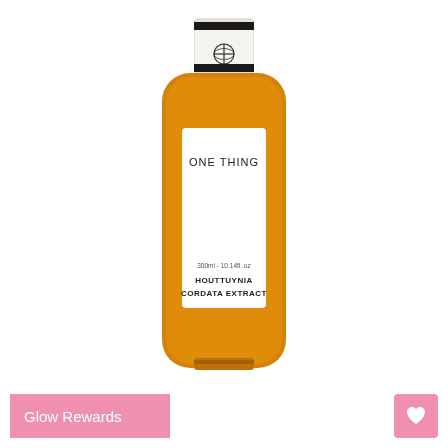[Figure (photo): A rectangular amber/orange glass toner bottle with rounded corners. The bottle has a white rectangular label in the center reading 'ONE THING' at the top, and 'HOUTTUYNIA CORDATA EXTRACT' near the bottom, with '300ml - 10.14fl. oz' above the product name. The bottle cap is white/silver and rectangular. A small circular logo with a sphere symbol appears near the cap area.]
Glow Rewards